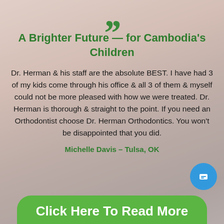[Figure (photo): Background photo of a child's face (forehead and hair visible), with semi-transparent white overlay for text legibility]
A Brighter Future — for Cambodia's Children
Dr. Herman & his staff are the absolute BEST. I have had 3 of my kids come through his office & all 3 of them & myself could not be more pleased with how we were treated. Dr. Herman is thorough & straight to the point. If you need an Orthodontist choose Dr. Herman Orthodontics. You won't be disappointed that you did.
Michelle Davis – Tulsa, OK
Click Here To Read More